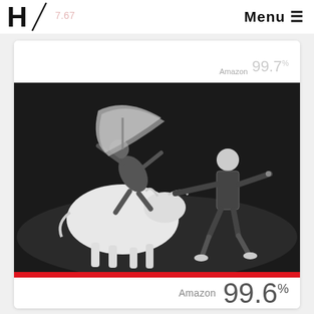H / Menu ≡
[Figure (photo): Black and white photograph of a bullfighting or rodeo scene: a person in a leotard/performance outfit with arms outstretched to the right, and another figure being thrown off a white bull with a large flag/cloth waving on the left.]
Amazon 99.6%
Amazon 99.7%